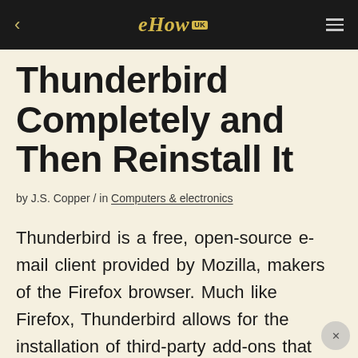eHow UK
Thunderbird Completely and Then Reinstall It
by J.S. Copper / in Computers & electronics
Thunderbird is a free, open-source e-mail client provided by Mozilla, makers of the Firefox browser. Much like Firefox, Thunderbird allows for the installation of third-party add-ons that can extend the functionality of